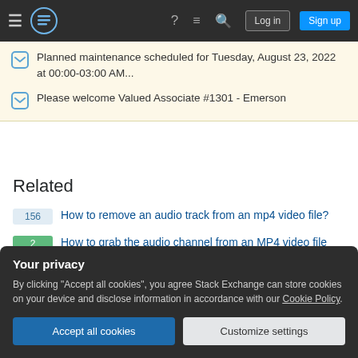Stack Exchange navigation bar with Log in and Sign up buttons
Planned maintenance scheduled for Tuesday, August 23, 2022 at 00:00-03:00 AM...
Please welcome Valued Associate #1301 - Emerson
Related
156 — How to remove an audio track from an mp4 video file?
2 — How to grab the audio channel from an MP4 video file into a separate audio file?
5 — How to convert a .txt subtitle file to .srt format?
Your privacy
By clicking "Accept all cookies", you agree Stack Exchange can store cookies on your device and disclose information in accordance with our Cookie Policy.
Accept all cookies | Customize settings